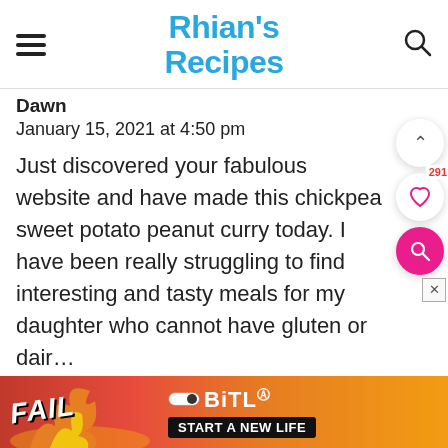Rhian's Recipes
Dawn
January 15, 2021 at 4:50 pm
Just discovered your fabulous website and have made this chickpea sweet potato peanut curry today. I have been really struggling to find interesting and tasty meals for my daughter who cannot have gluten or dair… who…
[Figure (screenshot): BitLife advertisement banner with FAIL text and 'START A NEW LIFE' tagline]